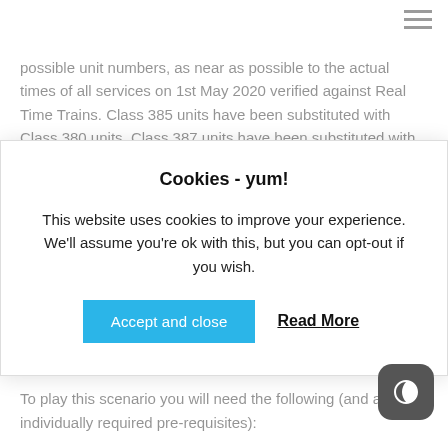possible unit numbers, as near as possible to the actual times of all services on 1st May 2020 verified against Real Time Trains. Class 385 units have been substituted with Class 380 units, Class 387 units have been substituted with Class 350s. Cl...
Cookies - yum!
This website uses cookies to improve your experience. We'll assume you're ok with this, but you can opt-out if you wish.
description.
To play this scenario you will need the following (and all their individually required pre-requisites):
West Coast Mainline (WCML) North West & Scotland – Preston